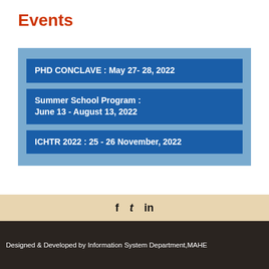Events
PHD CONCLAVE : May 27- 28, 2022
Summer School Program : June 13 - August 13, 2022
ICHTR 2022 : 25 - 26 November, 2022
f  t  in
Designed & Developed by Information System Department,MAHE